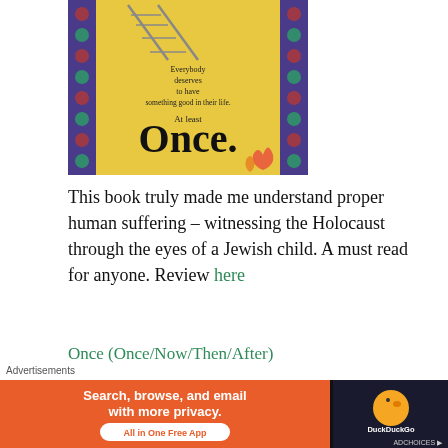[Figure (photo): Book cover of 'Once' with yellow background, decorative blue/purple border on left and right sides, railway track lines at top, text reading 'Everybody deserves to have something good in their life. At least Once.' in black serif font]
This book truly made me understand proper human suffering – witnessing the Holocaust through the eyes of a Jewish child. A must read for anyone. Review here
Once (Once/Now/Then/After)
« Never Let Me Go – K...
Advertisements
[Figure (screenshot): DuckDuckGo advertisement banner: orange background with text 'Search, browse, and email with more privacy. All in One Free App' button, and DuckDuckGo logo with duck icon on dark right side]